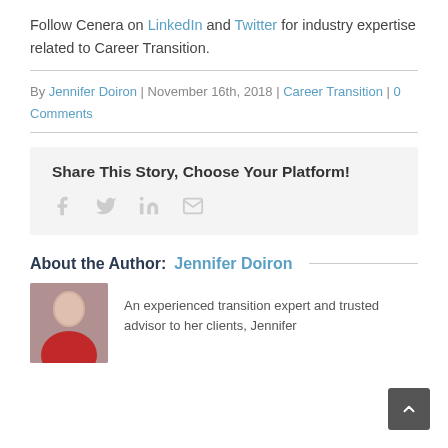Follow Cenera on LinkedIn and Twitter for industry expertise related to Career Transition.
By Jennifer Doiron | November 16th, 2018 | Career Transition | 0 Comments
Share This Story, Choose Your Platform!
[Figure (other): Social share icons: Facebook, Twitter, LinkedIn, Email]
About the Author: Jennifer Doiron
[Figure (photo): Photo of Jennifer Doiron, a woman with dark hair smiling, wearing a red top]
An experienced transition expert and trusted advisor to her clients, Jennifer